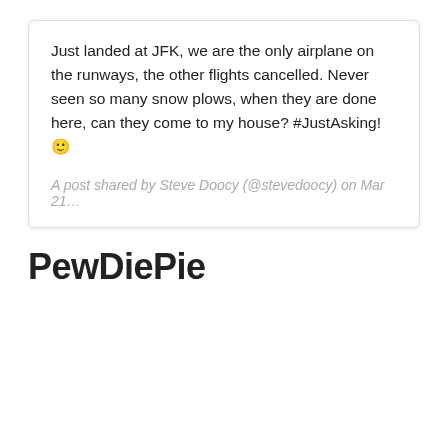Just landed at JFK, we are the only airplane on the runways, the other flights cancelled. Never seen so many snow plows, when they are done here, can they come to my house? #JustAsking! 🙂
A post shared by Steve Doocy (@stevedoocy) on Mar 21...
PewDiePie